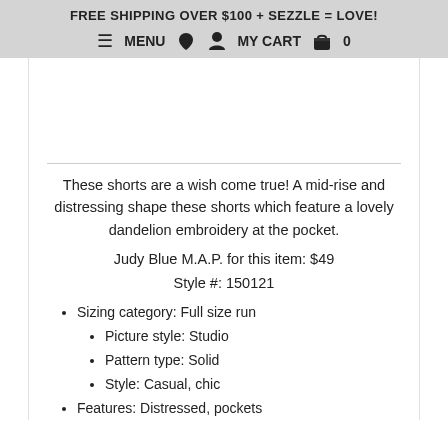FREE SHIPPING OVER $100 + SEZZLE = LOVE!
≡ MENU  🏠  👤  MY CART  🛍 0
These shorts are a wish come true! A mid-rise and distressing shape these shorts which feature a lovely dandelion embroidery at the pocket.
Judy Blue M.A.P. for this item: $49
Style #: 150121
Sizing category: Full size run
Picture style: Studio
Pattern type: Solid
Style: Casual, chic
Features: Distressed, pockets